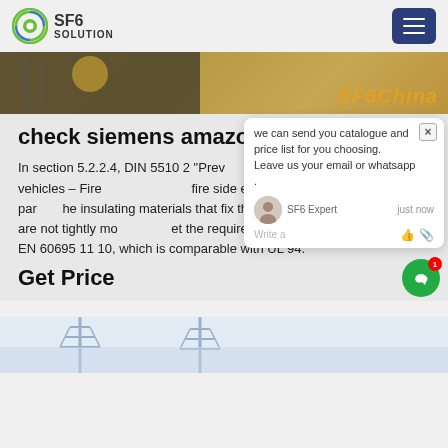SF6 SOLUTION
[Figure (screenshot): Hero banner image with dark left overlay and orange SF6China text overlay on right]
check siemens amazon
In section 5.2.2.4, DIN 5510 2 "Preventive fire protection in railway vehicles – Fire side effects of materials and parts", insulating materials that fix the core in their position and are not tightly moulded meet the requirement V0 according to DIN EN 60695 11 10, which is comparable with UL 94.
Get Price
[Figure (screenshot): Chat popup overlay with agent avatar, message about catalogue and price list, SF6 Expert label]
[Figure (photo): Bottom image strip showing electrical transmission towers/pylons against sky]